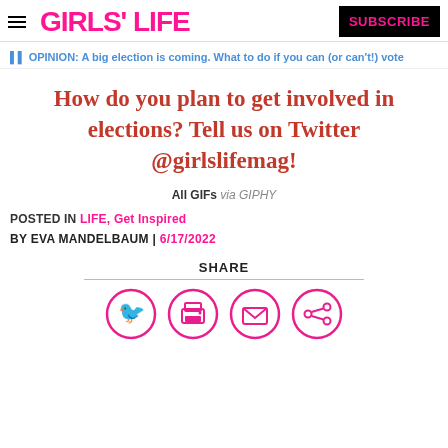GIRLS' LIFE | SUBSCRIBE
◁▷ OPINION: A big election is coming. What to do if you can (or can't!) vote
How do you plan to get involved in elections? Tell us on Twitter @girlslifemag!
All GIFs via GIPHY
POSTED IN LIFE, Get Inspired
BY EVA MANDELBAUM | 6/17/2022
SHARE